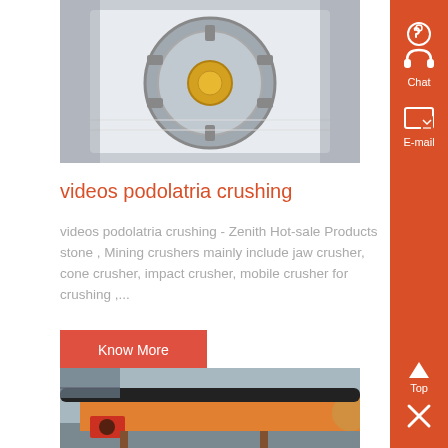[Figure (photo): Industrial crusher component - circular metallic disc/flywheel with gold center, industrial machinery part on white background]
videos podolatria crushing
videos podolatria crushing - Zenith Hot-sale Products stone , Mining crushers mainly include jaw crusher, cone crusher, impact crusher, mobile crusher for crushing ,...
Know More
[Figure (photo): Industrial orange rotary drum / trommel screen machine for mining, shown outdoors]